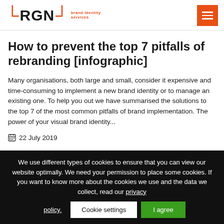RGN brand identity services
How to prevent the top 7 pitfalls of rebranding [infographic]
Many organisations, both large and small, consider it expensive and time-consuming to implement a new brand identity or to manage an existing one. To help you out we have summarised the solutions to the top 7 of the most common pitfalls of brand implementation. The power of your visual brand identity...
22 July 2019
We use different types of cookies to ensure that you can view our website optimally. We need your permission to place some cookies. If you want to know more about the cookies we use and the data we collect, read our privacy policy.